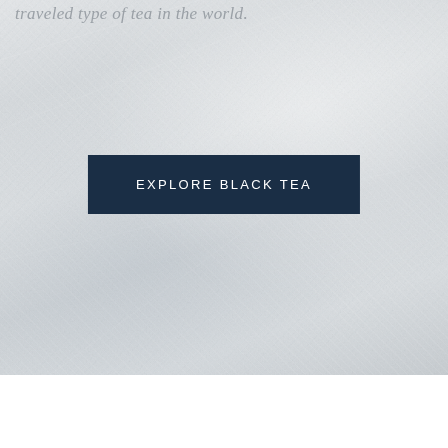traveled type of tea in the world.
[Figure (photo): Close-up photograph of white fabric or textile with soft texture, used as background]
EXPLORE BLACK TEA